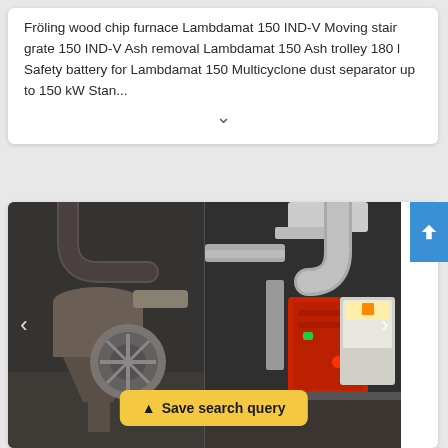Fröling wood chip furnace Lambdamat 150 IND-V Moving stair grate 150 IND-V Ash removal Lambdamat 150 Ash trolley 180 l Safety battery for Lambdamat 150 Multicyclone dust separator up to 150 kW Stan...
[Figure (photo): Industrial wood chip furnace installation showing cyclone dust separator, ductwork, motor/fan unit, and control panel with a 'Save search query' button overlay]